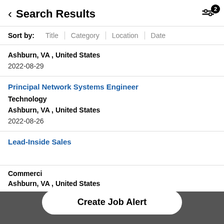Search Results
Sort by: Title | Category | Location | Date
Ashburn, VA , United States
2022-08-29
Principal Network Systems Engineer
Technology
Ashburn, VA , United States
2022-08-26
Lead-Inside Sales
Commercial
Ashburn, VA , United States
Create Job Alert